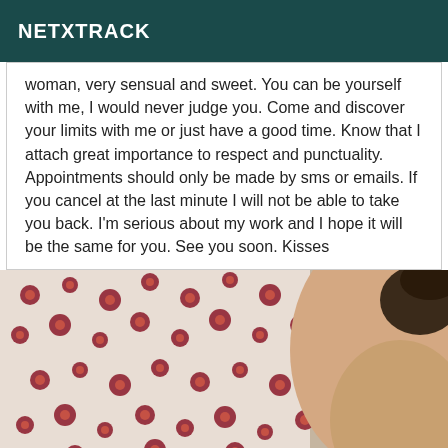NETXTRACK
woman, very sensual and sweet. You can be yourself with me, I would never judge you. Come and discover your limits with me or just have a good time. Know that I attach great importance to respect and punctuality. Appointments should only be made by sms or emails. If you cancel at the last minute I will not be able to take you back. I'm serious about my work and I hope it will be the same for you. See you soon. Kisses
[Figure (photo): Photo showing a floral fabric with red flowers on white background and a person's bare back/skin visible on the right side.]